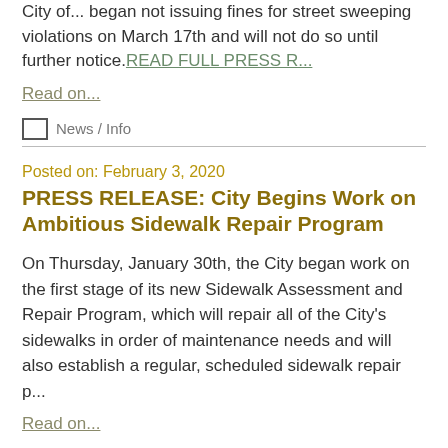City of... began not issuing fines for street sweeping violations on March 17th and will not do so until further notice. READ FULL PRESS R...
Read on...
News / Info
Posted on: February 3, 2020
PRESS RELEASE: City Begins Work on Ambitious Sidewalk Repair Program
On Thursday, January 30th, the City began work on the first stage of its new Sidewalk Assessment and Repair Program, which will repair all of the City's sidewalks in order of maintenance needs and will also establish a regular, scheduled sidewalk repair p...
Read on...
News / Info
Posted on: January 30, 2020